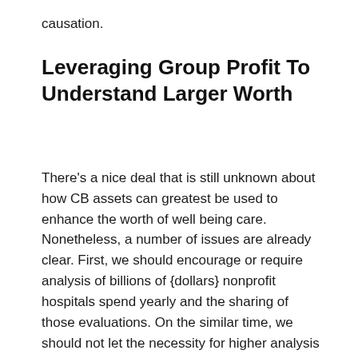causation.
Leveraging Group Profit To Understand Larger Worth
There's a nice deal that is still unknown about how CB assets can greatest be used to enhance the worth of well being care. Nonetheless, a number of issues are already clear. First, we should encourage or require analysis of billions of {dollars} nonprofit hospitals spend yearly and the sharing of those evaluations. On the similar time, we should not let the necessity for higher analysis incentivize short-term interventions over long-term tasks which are virtually at all times harder to guage.